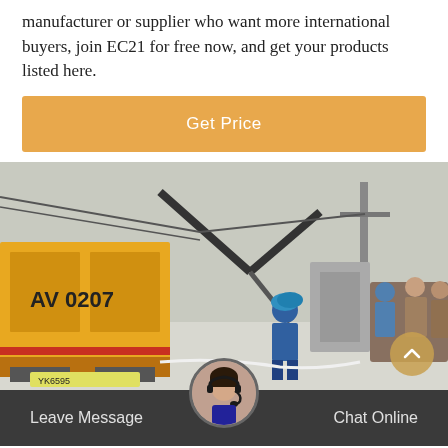manufacturer or supplier who want more international buyers, join EC21 for free now, and get your products listed here.
[Figure (other): Orange 'Get Price' button]
[Figure (photo): Industrial scene showing a yellow truck and workers in blue hard hats near large electrical equipment outdoors in snowy conditions]
Leave Message
Chat Online